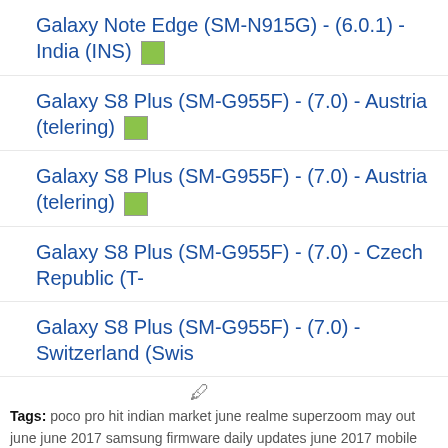Galaxy Note Edge (SM-N915G) - (6.0.1) - India (INS)
Galaxy S8 Plus (SM-G955F) - (7.0) - Austria (telering)
Galaxy S8 Plus (SM-G955F) - (7.0) - Austria (telering)
Galaxy S8 Plus (SM-G955F) - (7.0) - Czech Republic (T-
Galaxy S8 Plus (SM-G955F) - (7.0) - Switzerland (Swis
Tags: poco pro hit indian market june realme superzoom may out june june 2017 samsung firmware daily updates june 2017 mobile june 2017 samsung firmware daily updates june 2017
Galaxy Note 4 on AT&T Fina June Security Pat
Samsung Updates